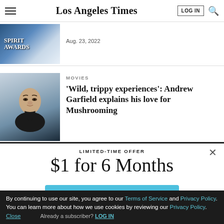Los Angeles Times
[Figure (photo): Spirit Awards thumbnail image with blue background]
Aug. 23, 2022
MOVIES
[Figure (photo): Andrew Garfield portrait photo]
'Wild, trippy experiences': Andrew Garfield explains his love for Mushrooming
LIMITED-TIME OFFER
$1 for 6 Months
SUBSCRIBE NOW
By continuing to use our site, you agree to our Terms of Service and Privacy Policy. You can learn more about how we use cookies by reviewing our Privacy Policy. Close
Already a subscriber? LOG IN